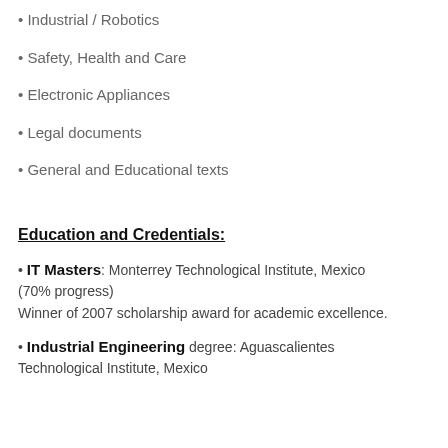• Industrial / Robotics
• Safety, Health and Care
• Electronic Appliances
• Legal documents
• General and Educational texts
Education and Credentials:
• IT Masters: Monterrey Technological Institute, Mexico (70% progress) Winner of 2007 scholarship award for academic excellence.
• Industrial Engineering degree: Aguascalientes Technological Institute, Mexico